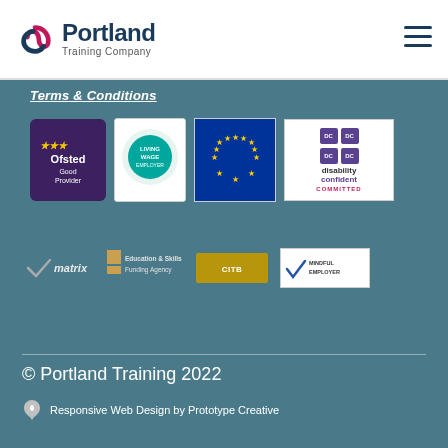[Figure (logo): Portland Training Company logo with swirl icon]
[Figure (logo): Hamburger menu icon]
Terms & Conditions
[Figure (logo): Ofsted Good Provider badge]
[Figure (logo): Living Wage Employer badge]
[Figure (logo): European Union flag]
[Figure (logo): Disability Confident Committed badge]
[Figure (logo): Matrix quality standard logo]
[Figure (logo): Education & Skills Funding Agency logo]
[Figure (logo): Construction Industry Training Board logo]
[Figure (logo): Mindful Employer badge]
© Portland Training 2022
Responsive Web Design by Prototype Creative